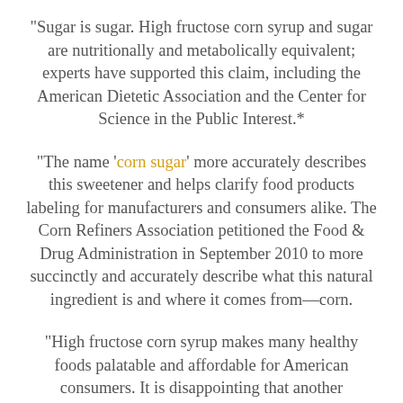“Sugar is sugar. High fructose corn syrup and sugar are nutritionally and metabolically equivalent; experts have supported this claim, including the American Dietetic Association and the Center for Science in the Public Interest.*
“The name ‘corn sugar’ more accurately describes this sweetener and helps clarify food products labeling for manufacturers and consumers alike. The Corn Refiners Association petitioned the Food & Drug Administration in September 2010 to more succinctly and accurately describe what this natural ingredient is and where it comes from—corn.
“High fructose corn syrup makes many healthy foods palatable and affordable for American consumers. It is disappointing that another sweetener would sue the